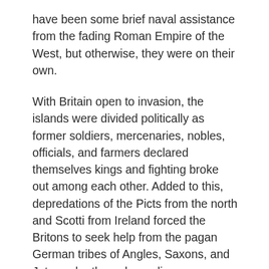have been some brief naval assistance from the fading Roman Empire of the West, but otherwise, they were on their own.
With Britain open to invasion, the islands were divided politically as former soldiers, mercenaries, nobles, officials, and farmers declared themselves kings and fighting broke out among each other. Added to this, depredations of the Picts from the north and Scotti from Ireland forced the Britons to seek help from the pagan German tribes of Angles, Saxons, and Jutes, who then, depending on interpretation, defended, immigrated, and then integrated with the populace peacefully or invaded the islands with an aggressive military occupation.